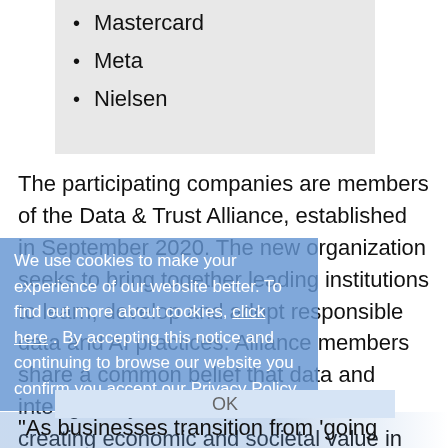Mastercard
Meta
Nielsen
The participating companies are members of the Data & Trust Alliance, established in September 2020. The new organization seeks to bring together leading institutions to learn, develop and adopt responsible data and AI practices. Alliance members share a common belief that data and intelligent systems will be critical for creating economic and societal value in the coming era, but must be deployed responsibly.
We use cookies to make your experience of our website better. To find out more about cookies, click here. By accepting this notice and continuing to browse our website you confirm you accept our Privacy Policy
“As businesses transition from ‘going digital’ to becoming ‘data enterprises,’ it is imperative to unlock the value of data and AI in ways that earn trust with every stakeholder,” said Doug McMillon, president and